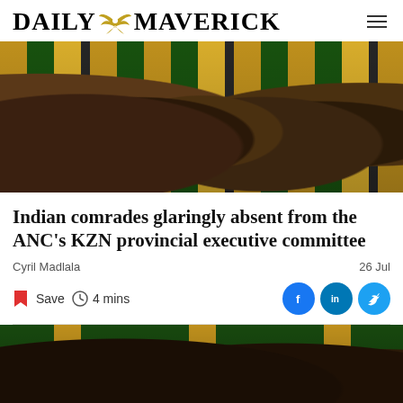DAILY MAVERICK
[Figure (photo): Crowd of ANC supporters wearing yellow and green clothing celebrating at a conference, arms raised]
Indian comrades glaringly absent from the ANC's KZN provincial executive committee
Cyril Madlala
26 Jul
Save  4 mins
[Figure (photo): ANC leaders in conversation at a conference with black, green and yellow ANC banner in background]